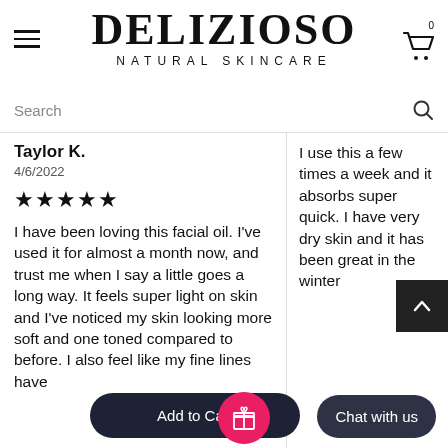DELIZIOSO NATURAL SKINCARE
Search
Taylor K.
4/6/2022
★★★★★
I have been loving this facial oil. I've used it for almost a month now, and trust me when I say a little goes a long way. It feels super light on skin and I've noticed my skin looking more soft and one toned compared to before. I also feel like my fine lines have
I use this a few times a week and it absorbs super quick. I have very dry skin and it has been great in the winter
Chat with us
Add to Cart